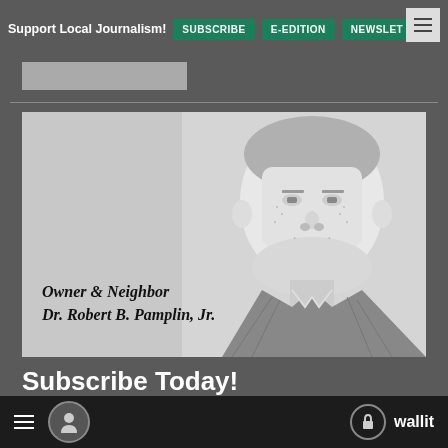Support Local Journalism! SUBSCRIBE E-EDITION NEWSLET
[Figure (illustration): Black and white engraved portrait of Dr. Robert B. Pamplin Jr. with text overlay reading 'Owner & Neighbor Dr. Robert B. Pamplin, Jr.']
Subscribe Today!
Click Here
Advertise with Us
wallit